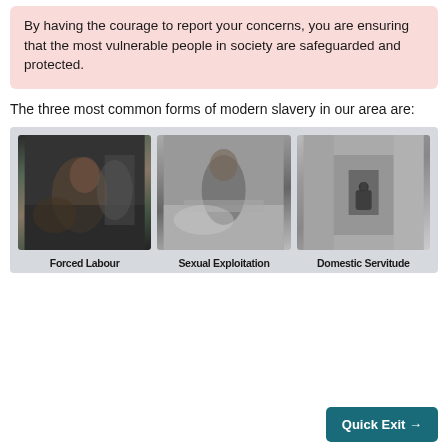By having the courage to report your concerns, you are ensuring that the most vulnerable people in society are safeguarded and protected.
The three most common forms of modern slavery in our area are:
[Figure (photo): Three images showing Forced Labour (person in distress outdoors), Sexual Exploitation (person with head down on bed), and Domestic Servitude (padlock on wall/door) with bold labels beneath each image.]
Quick Exit →